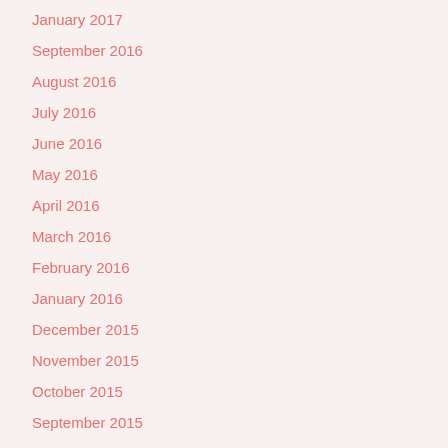January 2017
September 2016
August 2016
July 2016
June 2016
May 2016
April 2016
March 2016
February 2016
January 2016
December 2015
November 2015
October 2015
September 2015
August 2015
July 2015